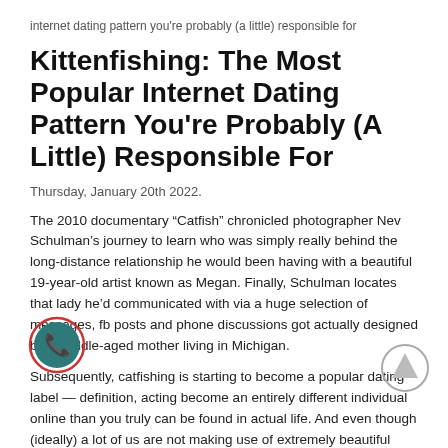internet dating pattern you're probably (a little) responsible for
Kittenfishing: The Most Popular Internet Dating Pattern You're Probably (A Little) Responsible For
Thursday, January 20th 2022.
The 2010 documentary “Catfish” chronicled photographer Nev Schulman’s journey to learn who was simply really behind the long-distance relationship he would been having with a beautiful 19-year-old artist known as Megan. Finally, Schulman locates that lady he’d communicated with via a huge selection of messages, fb posts and phone discussions got actually designed by a middle-aged mother living in Michigan.
Subsequently, catfishing is starting to become a popular dating label — definition, acting become an entirely different individual online than you truly can be found in actual life. And even though (ideally) a lot of us are not making use of extremely beautiful photo of someone else to wreak havoc on the brains of one’s internet dating customers, the urge to lie